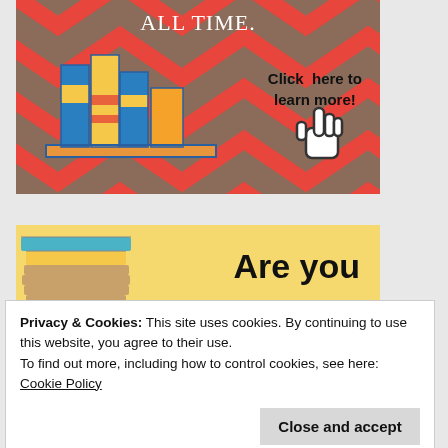[Figure (illustration): Red chevron-pattern banner with stacked books illustration on left and text 'ALL TIME.' at top, 'Click here to learn more!' on right with a pointing hand cursor icon]
[Figure (illustration): Yellow banner with stacked books illustration on left and bold text 'Are you' on right]
Privacy & Cookies: This site uses cookies. By continuing to use this website, you agree to their use.
To find out more, including how to control cookies, see here: Cookie Policy
Close and accept
[Figure (illustration): Partial yellow banner at bottom with partial blue italic text visible]